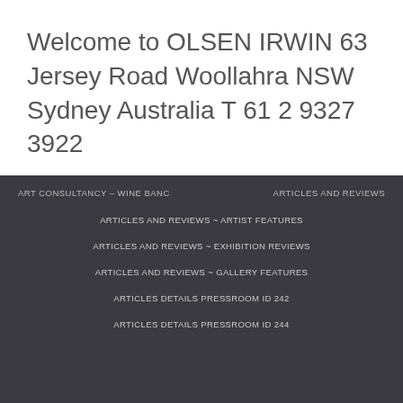Welcome to OLSEN IRWIN 63 Jersey Road Woollahra NSW Sydney Australia T 61 2 9327 3922
ART CONSULTANCY – WINE BANC
ARTICLES AND REVIEWS
ARTICLES AND REVIEWS ~ ARTIST FEATURES
ARTICLES AND REVIEWS ~ EXHIBITION REVIEWS
ARTICLES AND REVIEWS ~ GALLERY FEATURES
ARTICLES DETAILS PRESSROOM ID 242
ARTICLES DETAILS PRESSROOM ID 244